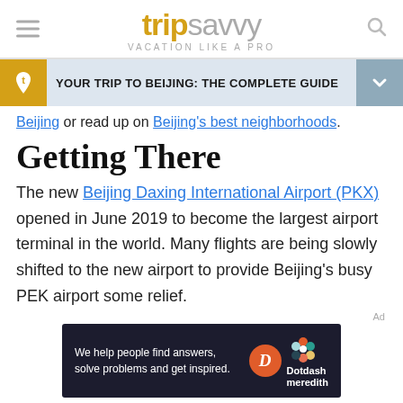tripsavvy — VACATION LIKE A PRO
YOUR TRIP TO BEIJING: THE COMPLETE GUIDE
Beijing or read up on Beijing's best neighborhoods.
Getting There
The new Beijing Daxing International Airport (PKX) opened in June 2019 to become the largest airport terminal in the world. Many flights are being slowly shifted to the new airport to provide Beijing's busy PEK airport some relief.
[Figure (other): Dotdash Meredith advertisement banner with text 'We help people find answers, solve problems and get inspired.']